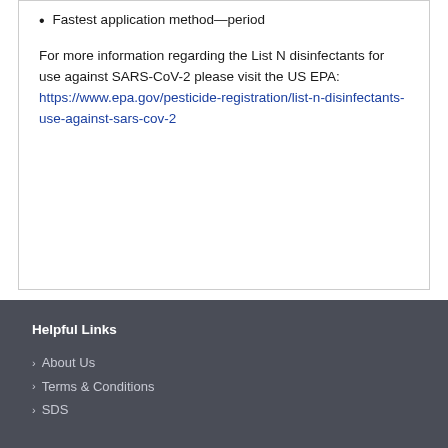Fastest application method—period
For more information regarding the List N disinfectants for use against SARS-CoV-2 please visit the US EPA: https://www.epa.gov/pesticide-registration/list-n-disinfectants-use-against-sars-cov-2
Helpful Links
About Us
Terms & Conditions
SDS